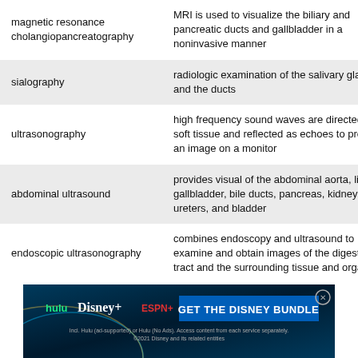| term | definition |
| --- | --- |
| magnetic resonance cholangiopancreatography | MRI is used to visualize the biliary and pancreatic ducts and gallbladder in a noninvasive manner |
| sialography | radiologic examination of the salivary glands and the ducts |
| ultrasonography | high frequency sound waves are directed at soft tissue and reflected as echoes to produce an image on a monitor |
| abdominal ultrasound | provides visual of the abdominal aorta, liver, gallbladder, bile ducts, pancreas, kidneys, ureters, and bladder |
| endoscopic ultrasonography | combines endoscopy and ultrasound to examine and obtain images of the digestive tract and the surrounding tissue and organs |
[Figure (other): Advertisement banner for the Disney Bundle (Hulu, Disney+, ESPN+)]